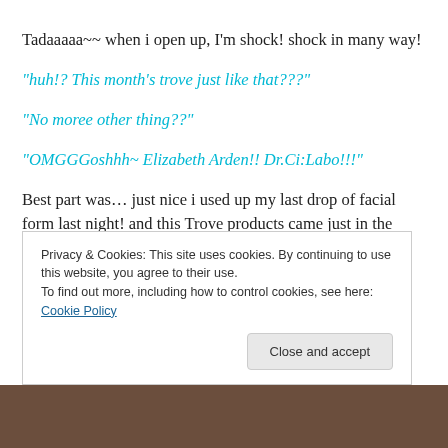Tadaaaaa~~ when i open up, I'm shock! shock in many way!
"huh!? This month's trove just like that???"
"No moree other thing??"
"OMGGGoshhh~ Elizabeth Arden!! Dr.Ci:Labo!!!"
Best part was… just nice i used up my last drop of facial form last night! and this Trove products came just in the right time.. guess. variety (quantity) doesn't matter
Privacy & Cookies: This site uses cookies. By continuing to use this website, you agree to their use.
To find out more, including how to control cookies, see here: Cookie Policy
[Figure (photo): Dark brown photo strip at the bottom of the page]